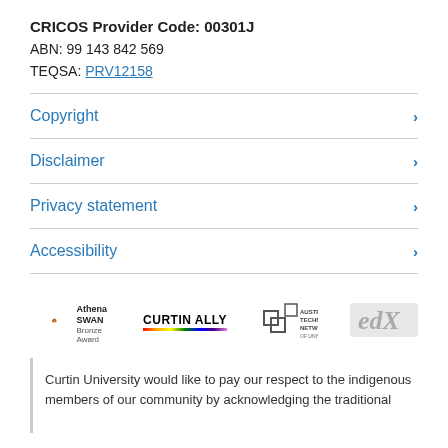CRICOS Provider Code: 00301J
ABN: 99 143 842 569
TEQSA: PRV12158
Copyright
Disclaimer
Privacy statement
Accessibility
[Figure (logo): Athena SWAN Bronze Award logo, Curtin Ally logo, Australian Technology Network logo, edX logo]
Curtin University would like to pay our respect to the indigenous members of our community by acknowledging the traditional